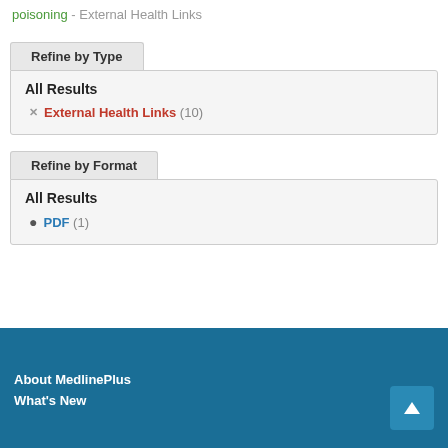poisoning - External Health Links
Refine by Type
All Results
External Health Links (10)
Refine by Format
All Results
PDF (1)
About MedlinePlus
What's New